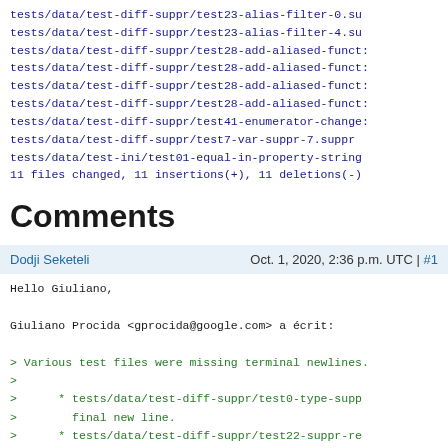tests/data/test-diff-suppr/test23-alias-filter-0.su
tests/data/test-diff-suppr/test23-alias-filter-4.su
tests/data/test-diff-suppr/test28-add-aliased-funct:
tests/data/test-diff-suppr/test28-add-aliased-funct:
tests/data/test-diff-suppr/test28-add-aliased-funct:
tests/data/test-diff-suppr/test28-add-aliased-funct:
tests/data/test-diff-suppr/test41-enumerator-change:
tests/data/test-diff-suppr/test7-var-suppr-7.suppr
tests/data/test-ini/test01-equal-in-property-string
11 files changed, 11 insertions(+), 11 deletions(-)
Comments
Dodji Seketeli    Oct. 1, 2020, 2:36 p.m. UTC | #1
Hello Giuliano,

Giuliano Procida <gprocida@google.com> a écrit:

> Various test files were missing terminal newlines.
>
>       * tests/data/test-diff-suppr/test0-type-supp
>         final new line.
>       * tests/data/test-diff-suppr/test22-suppr-re
>         Likewise.
>       * tests/data/test-diff-suppr/test23-alias-fi:
>         Likewise.
>       * tests/data/test-diff-suppr/test23-alias-fi:
>         Likewise.